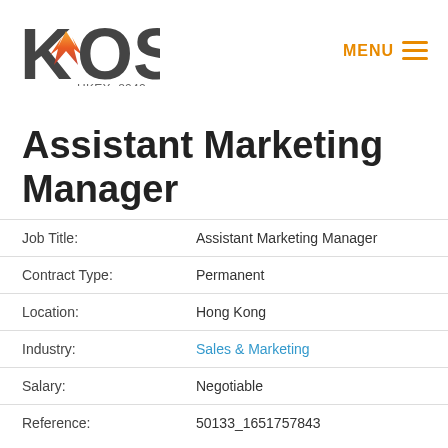[Figure (logo): KOS company logo with flame graphic, dark grey letters K O S, and text HKEX: 8042 below]
Assistant Marketing Manager
| Job Title: | Assistant Marketing Manager |
| Contract Type: | Permanent |
| Location: | Hong Kong |
| Industry: | Sales & Marketing |
| Salary: | Negotiable |
| Reference: | 50133_1651757843 |